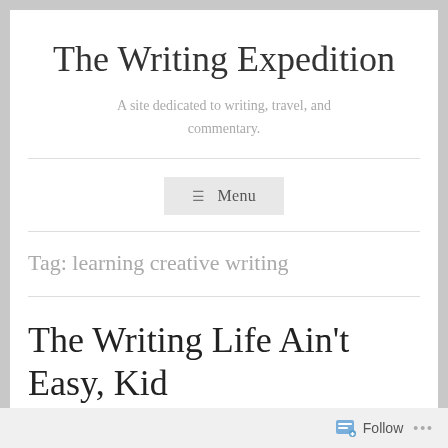The Writing Expedition
A site dedicated to writing, travel, and commentary.
≡ Menu
Tag: learning creative writing
The Writing Life Ain't Easy, Kid
Follow ...